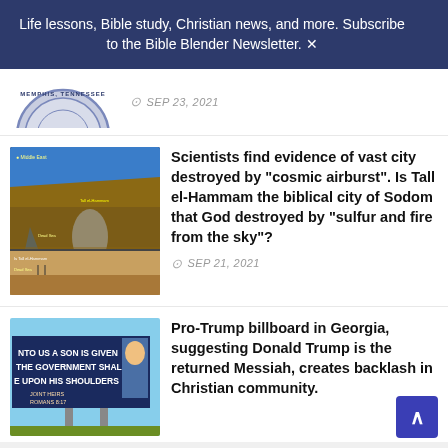Life lessons, Bible study, Christian news, and more. Subscribe to the Bible Blender Newsletter.
[Figure (photo): Partial view of a circular seal or logo for Memphis, Tennessee]
SEP 23, 2021
[Figure (photo): Satellite aerial view of Middle East region including Dead Sea and surrounding areas labeled Tall el-Hammam, with a lower panel showing ground-level landscape]
Scientists find evidence of vast city destroyed by "cosmic airburst". Is Tall el-Hammam the biblical city of Sodom that God destroyed by "sulfur and fire from the sky"?
SEP 21, 2021
[Figure (photo): Billboard reading: UNTO US A SON IS GIVEN THE GOVERNMENT SHALL BE UPON HIS SHOULDERS with JOINT HEIRS ROMANS 8:17 text]
Pro-Trump billboard in Georgia, suggesting Donald Trump is the returned Messiah, creates backlash in Christian community.